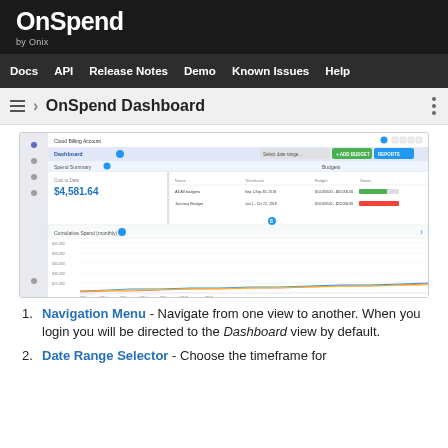OnSpend by Onix
Docs | API | Release Notes | Demo | Known Issues | Help
OnSpend Dashboard
[Figure (screenshot): Screenshot of the OnSpend Dashboard interface showing a Cloud Billing Account view with Dashboard selected, spending total of $4,581.64, budget tracking table with progress bars, and a Cumulative Spend (monthly) line chart with timeline along the x-axis.]
Navigation Menu - Navigate from one view to another. When you login you will be directed to the Dashboard view by default.
Date Range Selector - Choose the timeframe for